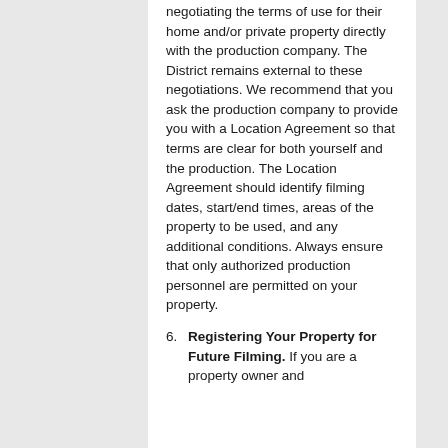Owners are responsible for negotiating the terms of use for their home and/or private property directly with the production company. The District remains external to these negotiations. We recommend that you ask the production company to provide you with a Location Agreement so that terms are clear for both yourself and the production. The Location Agreement should identify filming dates, start/end times, areas of the property to be used, and any additional conditions. Always ensure that only authorized production personnel are permitted on your property.
6. Registering Your Property for Future Filming. If you are a property owner and